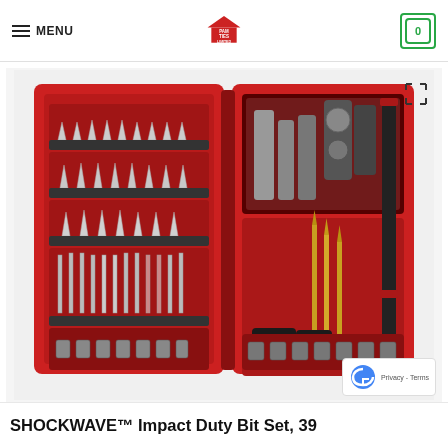MENU | PAM TIES LIMITED | [cart: 0]
[Figure (photo): Open red Milwaukee SHOCKWAVE tool case showing drill bits, driver bits, and accessories arranged in a red plastic case with multiple rows of bits on the left side and drill bits and adapters on the right side.]
SHOCKWAVE™ Impact Duty Bit Set, 39